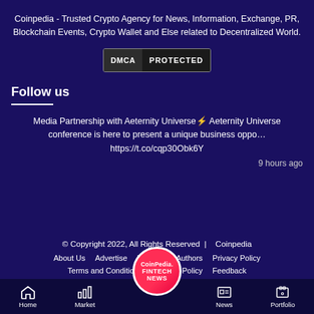Coinpedia - Trusted Crypto Agency for News, Information, Exchange, PR, Blockchain Events, Crypto Wallet and Else related to Decentralized World.
[Figure (logo): DMCA PROTECTED badge]
Follow us
Media Partnership with Aeternity Universe⚡ Aeternity Universe conference is here to present a unique business oppo… https://t.co/cqp30Obk6Y
9 hours ago
© Copyright 2022, All Rights Reserved  |   Coinpedia
About Us   Advertise   Partners   Authors   Privacy Policy
Terms and Conditions   Editorial Policy   Feedback